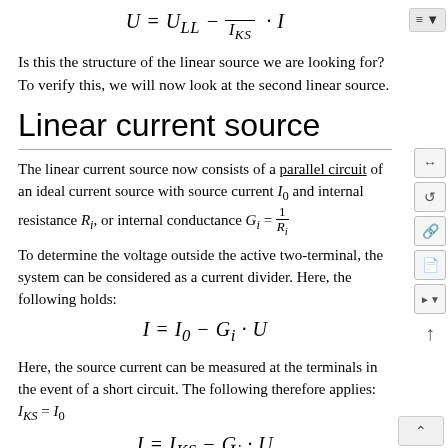Is this the structure of the linear source we are looking for? To verify this, we will now look at the second linear source.
Linear current source
The linear current source now consists of a parallel circuit of an ideal current source with source current I_0 and internal resistance R_i, or internal conductance G_i = 1/R_i
To determine the voltage outside the active two-terminal, the system can be considered as a current divider. Here, the following holds:
Here, the source current can be measured at the terminals in the event of a short circuit. The following therefore applies: I_{KS} = I_0